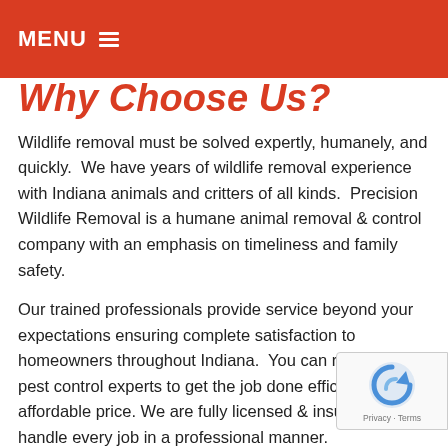MENU
Why Choose Us?
Wildlife removal must be solved expertly, humanely, and quickly.  We have years of wildlife removal experience with Indiana animals and critters of all kinds.  Precision Wildlife Removal is a humane animal removal & control company with an emphasis on timeliness and family safety.
Our trained professionals provide service beyond your expectations ensuring complete satisfaction to homeowners throughout Indiana.  You can rely on our pest control experts to get the job done efficiently at an affordable price. We are fully licensed & insured and handle every job in a professional manner.
[Figure (logo): reCAPTCHA badge with Privacy - Terms links]